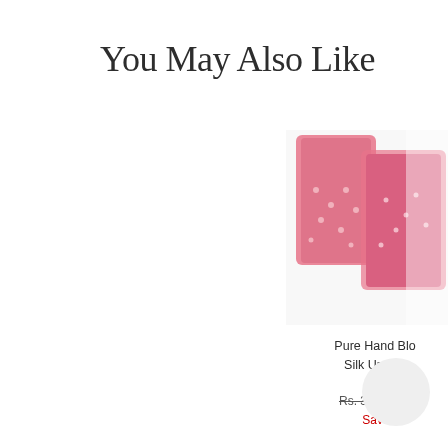You May Also Like
[Figure (photo): Partially visible product image of pink hand block print silk unstitched fabric]
Pure Hand Blo...
Silk Unstitch...
Rs. 3,500.00  R...
Save ...